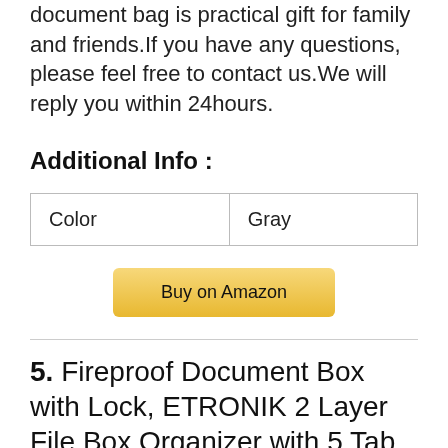document bag is practical gift for family and friends.If you have any questions, please feel free to contact us.We will reply you within 24hours.
Additional Info :
| Color | Gray |
Buy on Amazon
5. Fireproof Document Box with Lock, ETRONIK 2 Layer File Box Organizer with 5 Tab Inserts,